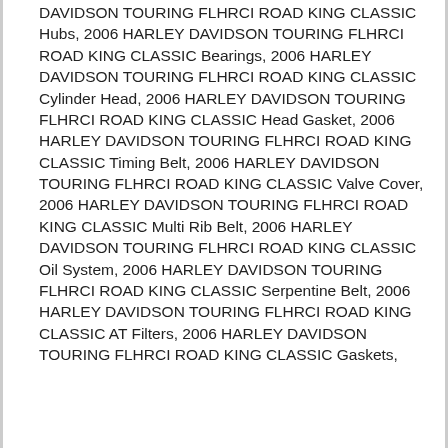DAVIDSON TOURING FLHRCI ROAD KING CLASSIC Hubs, 2006 HARLEY DAVIDSON TOURING FLHRCI ROAD KING CLASSIC Bearings, 2006 HARLEY DAVIDSON TOURING FLHRCI ROAD KING CLASSIC Cylinder Head, 2006 HARLEY DAVIDSON TOURING FLHRCI ROAD KING CLASSIC Head Gasket, 2006 HARLEY DAVIDSON TOURING FLHRCI ROAD KING CLASSIC Timing Belt, 2006 HARLEY DAVIDSON TOURING FLHRCI ROAD KING CLASSIC Valve Cover, 2006 HARLEY DAVIDSON TOURING FLHRCI ROAD KING CLASSIC Multi Rib Belt, 2006 HARLEY DAVIDSON TOURING FLHRCI ROAD KING CLASSIC Oil System, 2006 HARLEY DAVIDSON TOURING FLHRCI ROAD KING CLASSIC Serpentine Belt, 2006 HARLEY DAVIDSON TOURING FLHRCI ROAD KING CLASSIC AT Filters, 2006 HARLEY DAVIDSON TOURING FLHRCI ROAD KING CLASSIC Gaskets,